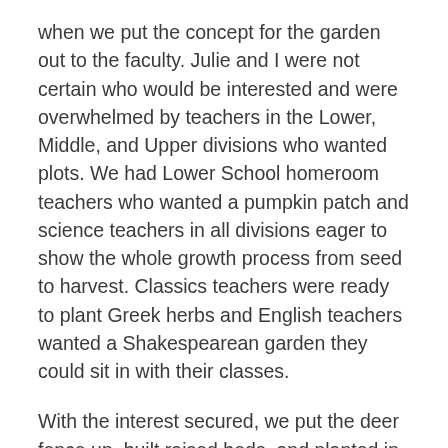when we put the concept for the garden out to the faculty. Julie and I were not certain who would be interested and were overwhelmed by teachers in the Lower, Middle, and Upper divisions who wanted plots. We had Lower School homeroom teachers who wanted a pumpkin patch and science teachers in all divisions eager to show the whole growth process from seed to harvest. Classics teachers were ready to plant Greek herbs and English teachers wanted a Shakespearean garden they could sit in with their classes.
With the interest secured, we put the deer fence up, built raised beds, and planted in the spring. Like many start-up projects, the first year was heavy on ideas and lighter on follow through. We had not exactly sorted out summer maintenance, the garden was under a thistle attack, and we